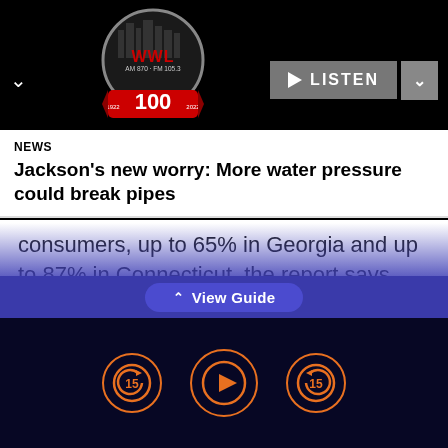[Figure (logo): WWL AM 870 / FM 105.3 radio station logo with 100th anniversary badge]
NEWS
Jackson's new worry: More water pressure could break pipes
consumers, up to 65% in Georgia and up to 87% in Connecticut, the report says.
However, the price reductions were not sustained during the entire tax holiday, and prices rose once the holiday was lifted, the report said.
View Guide